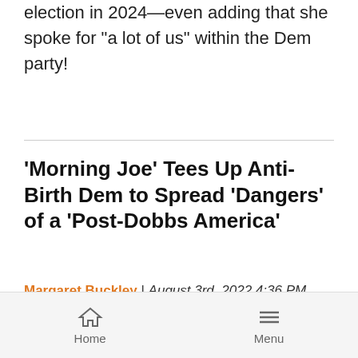election in 2024—even adding that she spoke for "a lot of us" within the Dem party!
'Morning Joe' Tees Up Anti-Birth Dem to Spread 'Dangers' of a 'Post-Dobbs America'
Margaret Buckley | August 3rd, 2022 4:36 PM
Now that the January 6 hearings are taking a hiatus before its new season, it seems like Morning Joe is struggling to find things to gripe about. So on Tuesday, they decided to conduct an experiment
Home  Menu